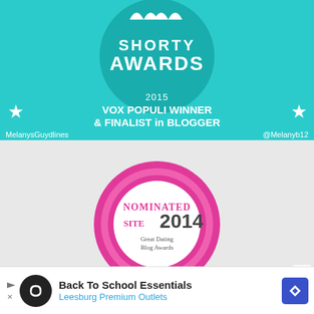[Figure (logo): Shorty Awards 2015 banner in teal/cyan color. Shows 'SHORTY AWARDS' logo in a dark teal circle with whale tails icon. Text reads '2015 VOX POPULI WINNER & FINALIST in BLOGGER'. Stars on left and right sides. Bottom shows 'MelanysGuydlines' and '@Melanyb12'.]
[Figure (illustration): Pink rosette/ribbon award badge. White circular center reads 'NOMINATED SITE 2014 Great Dating Blog Awards' in pink and red text. Pink ruffled ribbon surround. Gray and teal ribbon tails hanging below.]
[Figure (other): Advertisement banner. Black circular icon with infinity-like logo. Text: 'Back To School Essentials' in bold black and 'Leesburg Premium Outlets' in blue. Blue diamond navigation icon on right. Play/close controls on left.]